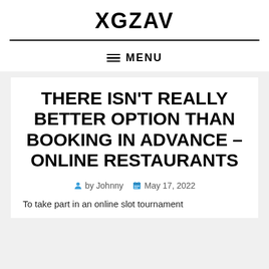XGZAV
MENU
THERE ISN'T REALLY BETTER OPTION THAN BOOKING IN ADVANCE – ONLINE RESTAURANTS
by Johnny  May 17, 2022
To take part in an online slot tournament